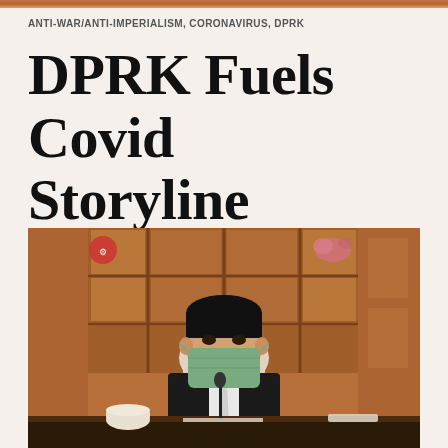ANTI-WAR/ANTI-IMPERIALISM, CORONAVIRUS, DPRK
DPRK Fuels Covid Storyline
[Figure (photo): A man wearing a dark suit and light-colored tie with a green face mask seated at a desk in front of ornate wooden cabinet doors with glass panels. A microphone and white teacup are visible on the desk. A small red logo/watermark appears in the upper left corner of the image.]